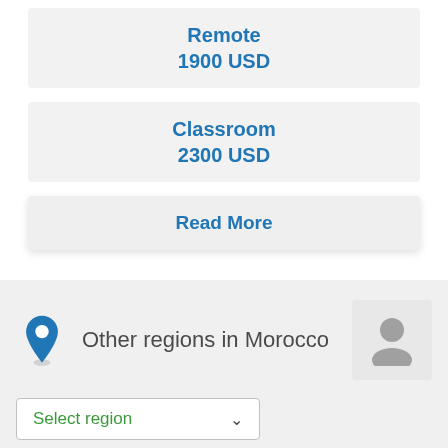Remote
1900 USD
Classroom
2300 USD
Read More
Other regions in Morocco
Select region